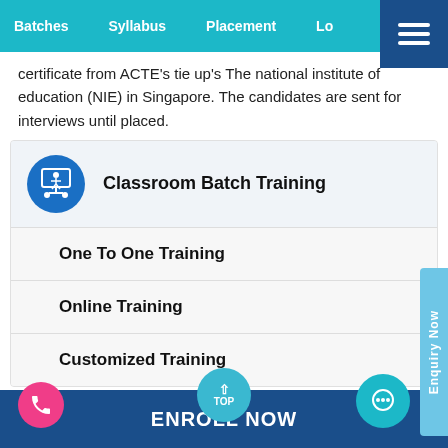Batches  Syllabus  Placement  Lo...
certificate from ACTE's tie up's The national institute of education (NIE) in Singapore. The candidates are sent for interviews until placed.
Classroom Batch Training
One To One Training
Online Training
Customized Training
ENROLL NOW